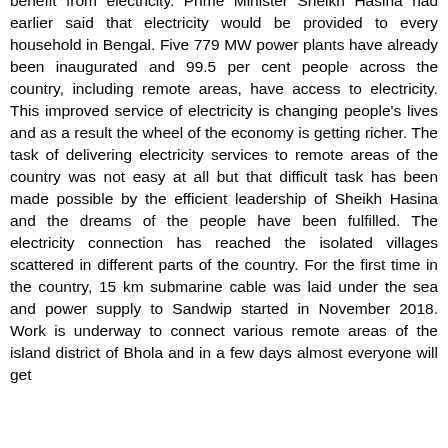benefit from electricity. Prime Minister Sheikh Hasina had earlier said that electricity would be provided to every household in Bengal. Five 779 MW power plants have already been inaugurated and 99.5 per cent people across the country, including remote areas, have access to electricity. This improved service of electricity is changing people's lives and as a result the wheel of the economy is getting richer. The task of delivering electricity services to remote areas of the country was not easy at all but that difficult task has been made possible by the efficient leadership of Sheikh Hasina and the dreams of the people have been fulfilled. The electricity connection has reached the isolated villages scattered in different parts of the country. For the first time in the country, 15 km submarine cable was laid under the sea and power supply to Sandwip started in November 2018. Work is underway to connect various remote areas of the island district of Bhola and in a few days almost everyone will get